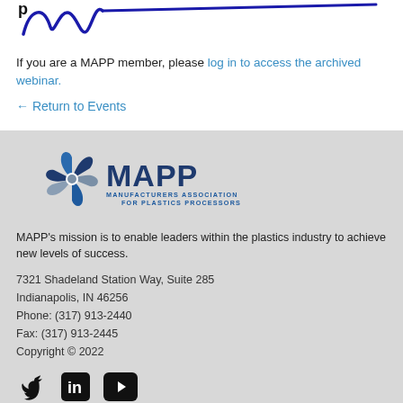[Figure (illustration): Handwritten signature in blue ink — cursive strokes with a long horizontal line extending to the right]
If you are a MAPP member, please log in to access the archived webinar.
← Return to Events
[Figure (logo): MAPP logo — pinwheel icon in blue/grey with text 'MAPP' and subtitle 'MANUFACTURERS ASSOCIATION FOR PLASTICS PROCESSORS']
MAPP's mission is to enable leaders within the plastics industry to achieve new levels of success.
7321 Shadeland Station Way, Suite 285
Indianapolis, IN 46256
Phone: (317) 913-2440
Fax: (317) 913-2445
Copyright © 2022
[Figure (illustration): Social media icons: Twitter bird, LinkedIn 'in', YouTube play button triangle — all dark/black]